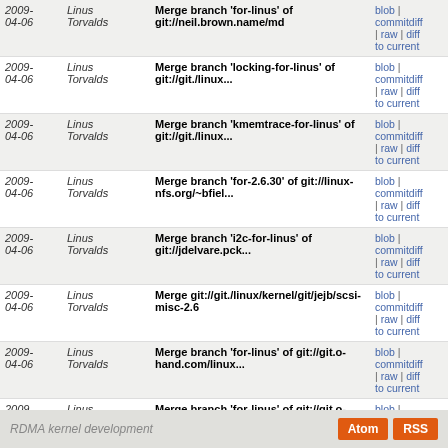| Date | Author | Commit Message | Links |
| --- | --- | --- | --- |
| 2009-04-06 | Linus Torvalds | Merge branch 'for-linus' of git://neil.brown.name/md | blob | commitdiff | raw | diff to current |
| 2009-04-06 | Linus Torvalds | Merge branch 'locking-for-linus' of git://git./linux... | blob | commitdiff | raw | diff to current |
| 2009-04-06 | Linus Torvalds | Merge branch 'kmemtrace-for-linus' of git://git./linux... | blob | commitdiff | raw | diff to current |
| 2009-04-06 | Linus Torvalds | Merge branch 'for-2.6.30' of git://linux-nfs.org/~bfiel... | blob | commitdiff | raw | diff to current |
| 2009-04-06 | Linus Torvalds | Merge branch 'i2c-for-linus' of git://jdelvare.pck... | blob | commitdiff | raw | diff to current |
| 2009-04-06 | Linus Torvalds | Merge git://git./linux/kernel/git/jejb/scsi-misc-2.6 | blob | commitdiff | raw | diff to current |
| 2009-04-06 | Linus Torvalds | Merge branch 'for-linus' of git://git.o-hand.com/linux... | blob | commitdiff | raw | diff to current |
| 2009-04-06 | Linus Torvalds | Merge branch 'for-linus' of git://git.o-hand.com/linux... | blob | commitdiff | raw | diff to current |
| 2009-04-06 | Felipe Balbi | leds: Add gpio-led trigger | blob | commitdiff | raw | diff to current |
RDMA kernel development   Atom RSS